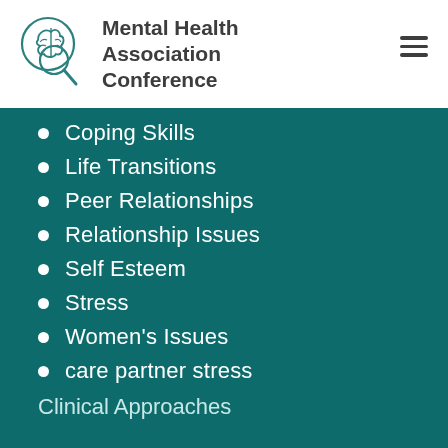Mental Health Association Conference
Coping Skills
Life Transitions
Peer Relationships
Relationship Issues
Self Esteem
Stress
Women's Issues
care partner stress
Clinical Approaches